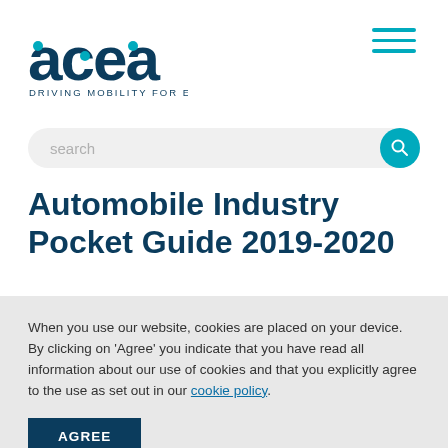[Figure (logo): ACEA logo — large teal/dark letters 'acea' with dot accents and tagline 'DRIVING MOBILITY FOR EUROPE']
[Figure (other): Hamburger menu icon — three horizontal teal lines in top right]
[Figure (other): Search bar with placeholder text 'search' and teal circular search button]
Automobile Industry Pocket Guide 2019-2020
[Figure (photo): Partially visible purple book/guide cover strip]
When you use our website, cookies are placed on your device. By clicking on 'Agree' you indicate that you have read all information about our use of cookies and that you explicitly agree to the use as set out in our cookie policy.
AGREE